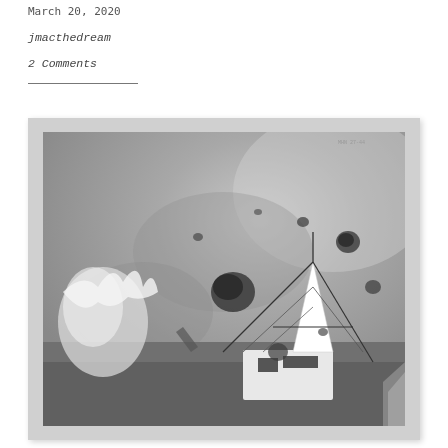March 20, 2020
jmacthedream
2 Comments
[Figure (photo): Black and white photograph showing an aerial or tilted perspective of a ship's superstructure and mast against a dramatic sky with dark spots/explosions. The image appears to be a WWII-era photo showing a vessel under attack or near explosions, with dark blobs visible against the grey sky and what appears to be smoke or spray on the left side.]